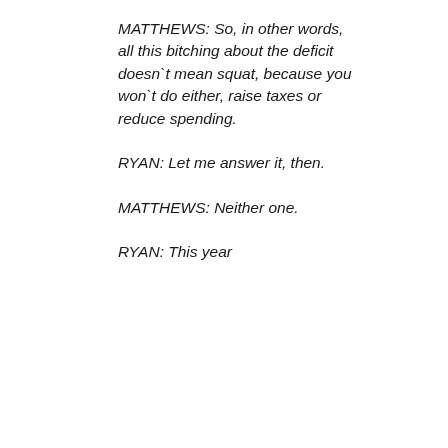MATTHEWS: So, in other words, all this bitching about the deficit doesn`t mean squat, because you won`t do either, raise taxes or reduce spending.
RYAN: Let me answer it, then.
MATTHEWS: Neither one.
RYAN: This year